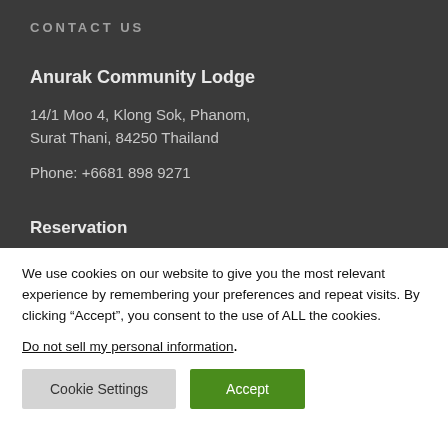CONTACT US
Anurak Community Lodge
14/1 Moo 4, Klong Sok, Phanom, Surat Thani, 84250 Thailand
Phone: +6681 898 9271
Reservation
We use cookies on our website to give you the most relevant experience by remembering your preferences and repeat visits. By clicking “Accept”, you consent to the use of ALL the cookies.
Do not sell my personal information.